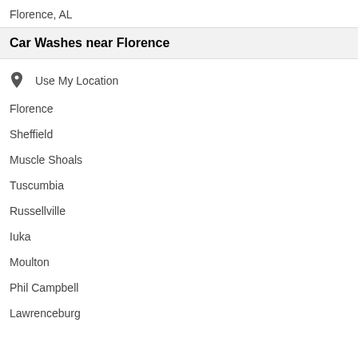Florence, AL
Car Washes near Florence
Use My Location
Florence
Sheffield
Muscle Shoals
Tuscumbia
Russellville
Iuka
Moulton
Phil Campbell
Lawrenceburg